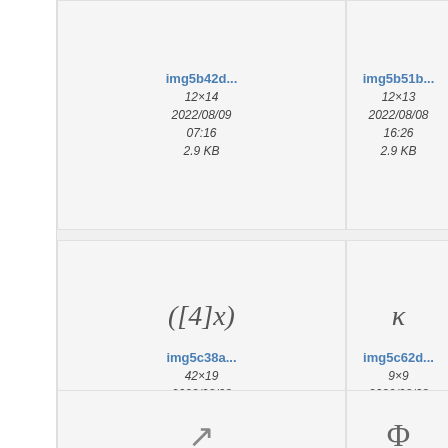[Figure (screenshot): Grid of image thumbnails with metadata. Row 1: img5b42d... (12x14, 2022/08/09 07:16, 2.9 KB), img5b51b... (12x13, 2022/08/08 16:26, 2.9 KB), partial third column. Row 2: img5c38a... with math symbol ([4]x) thumbnail (42x19, 2022/08/08 17:31, 3.1 KB), img5c62d... with kappa symbol (9x9, 2022/08/08 16:27, 2.9 KB), partial third. Row 3: img5e4d6... with arrow symbol (17x17), img5e16c... with Phi symbol (11x12), partial third.]